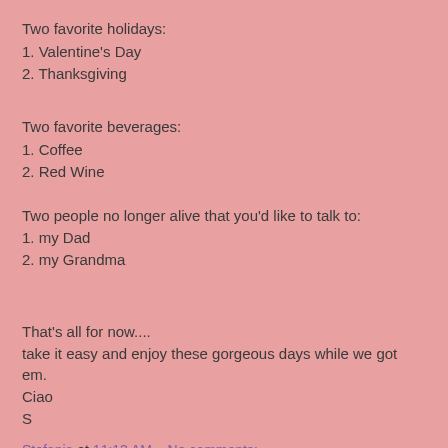Two favorite holidays:
1. Valentine's Day
2. Thanksgiving
Two favorite beverages:
1. Coffee
2. Red Wine
Two people no longer alive that you'd like to talk to:
1. my Dad
2. my Grandma
That's all for now....
take it easy and enjoy these gorgeous days while we got em.
Ciao
S
Stefania at 11:13 AM    No comments: